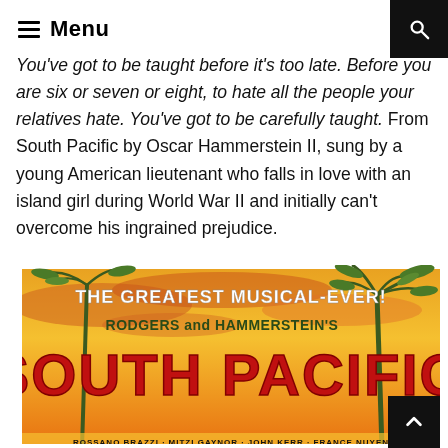Menu
You've got to be taught before it's too late. Before you are six or seven or eight, to hate all the people your relatives hate. You've got to be carefully taught. From South Pacific by Oscar Hammerstein II, sung by a young American lieutenant who falls in love with an island girl during World War II and initially can't overcome his ingrained prejudice.
[Figure (photo): Movie poster for South Pacific (Rodgers and Hammerstein's), with yellow-orange background, palm trees, large red text reading SOUTH PACIFIC, and tagline THE GREATEST MUSICAL-EVER! Credits at bottom include ROSSANO BRAZZI, MITZI GAYNOR, JOHN KERR, FRANCE NUYEN.]